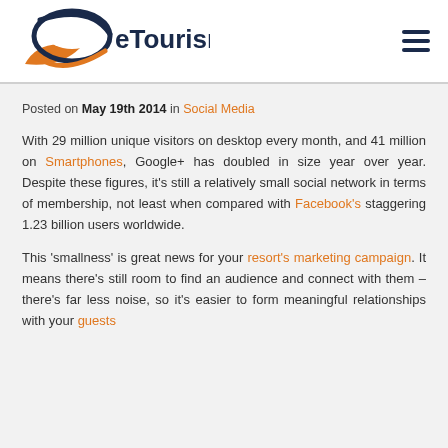eTourism
Posted on May 19th 2014 in Social Media
With 29 million unique visitors on desktop every month, and 41 million on Smartphones, Google+ has doubled in size year over year. Despite these figures, it's still a relatively small social network in terms of membership, not least when compared with Facebook's staggering 1.23 billion users worldwide.
This 'smallness' is great news for your resort's marketing campaign. It means there's still room to find an audience and connect with them – there's far less noise, so it's easier to form meaningful relationships with your guests.